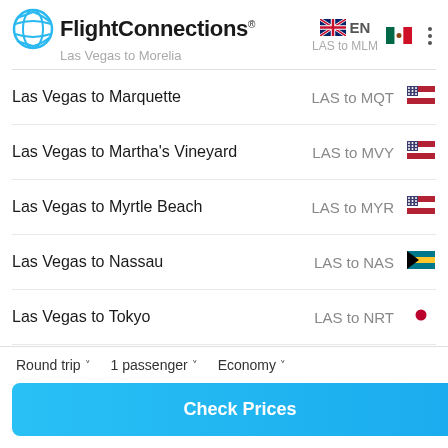FlightConnections® — Las Vegas to Morelia — LAS to MLM — EN
Las Vegas to Marquette — LAS to MQT
Las Vegas to Martha's Vineyard — LAS to MVY
Las Vegas to Myrtle Beach — LAS to MYR
Las Vegas to Nassau — LAS to NAS
Las Vegas to Tokyo — LAS to NRT
Las Vegas to Paducah — LAS to PAH
Round trip ∨  1 passenger ∨  Economy ∨
Check Prices